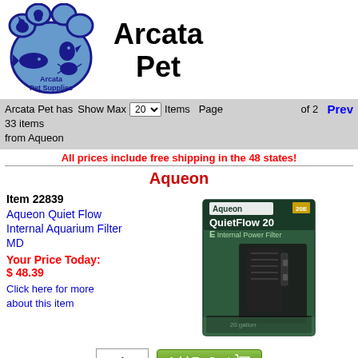[Figure (logo): Arcata Pet Supplies paw print logo with animal silhouettes inside]
Arcata Pet
Arcata Pet has 33 items from Aqueon   Show Max 20 Items   Page 2 of 2   Prev
All prices include free shipping in the 48 states!
Aqueon
Item 22839
Aqueon Quiet Flow Internal Aquarium Filter MD
Your Price Today: $ 48.39
Click here for more about this item
[Figure (photo): Aqueon QuietFlow 20 E Internal Power Filter product box photo]